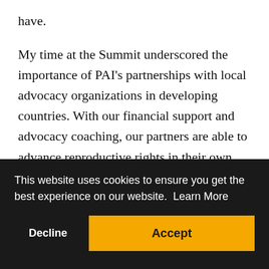have.
My time at the Summit underscored the importance of PAI’s partnerships with local advocacy organizations in developing countries. With our financial support and advocacy coaching, our partners are able to advance reproductive rights in their own countries.
This hallmark of PAI’s work resulted in
This website uses cookies to ensure you get the best experience on our website.  Learn More
Decline
Accept